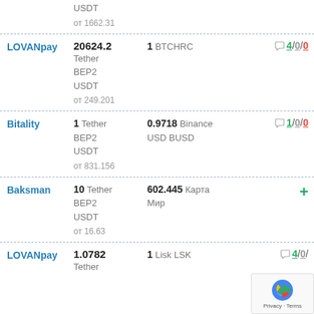| Exchanger | Give | Get | Reviews |
| --- | --- | --- | --- |
|  | USDT
от 1662.31 |  |  |
| LOVANpay | 20624.2
Tether BEP2 USDT
от 249.201 | 1 BTCHRC | 4/0/0 |
| Bitality | 1 Tether BEP2 USDT
от 831.156 | 0.9718 Binance USD BUSD | 1/0/0 |
| Baksman | 10 Tether BEP2 USDT
от 16.63 | 602.445 Карта Мир | + |
| LOVANpay | 1.0782
Tether | 1 Lisk LSK | 4/0/ |